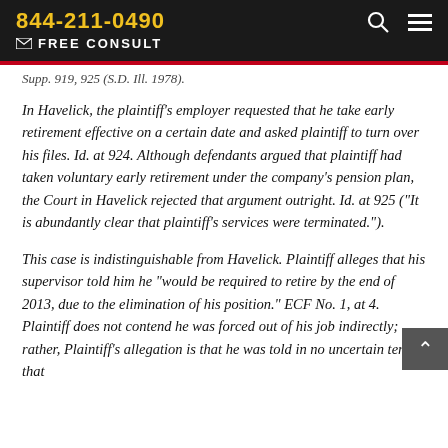844-211-0490  FREE CONSULT
Supp. 919, 925 (S.D. Ill. 1978).
In Havelick, the plaintiff's employer requested that he take early retirement effective on a certain date and asked plaintiff to turn over his files. Id. at 924. Although defendants argued that plaintiff had taken voluntary early retirement under the company's pension plan, the Court in Havelick rejected that argument outright. Id. at 925 ("It is abundantly clear that plaintiff's services were terminated.").
This case is indistinguishable from Havelick. Plaintiff alleges that his supervisor told him he "would be required to retire by the end of 2013, due to the elimination of his position." ECF No. 1, at 4. Plaintiff does not contend he was forced out of his job indirectly; rather, Plaintiff's allegation is that he was told in no uncertain terms that